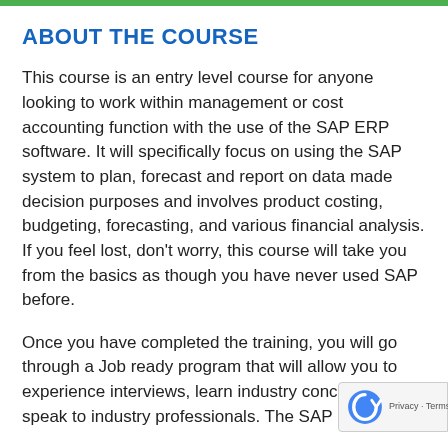ABOUT THE COURSE
This course is an entry level course for anyone looking to work within management or cost accounting function with the use of the SAP ERP software. It will specifically focus on using the SAP system to plan, forecast and report on data made decision purposes and involves product costing, budgeting, forecasting, and various financial analysis. If you feel lost, don't worry, this course will take you from the basics as though you have never used SAP before.
Once you have completed the training, you will go through a Job ready program that will allow you to experience interviews, learn industry concepts and speak to industry professionals. The SAP Consultant will help share a more up to date CV and